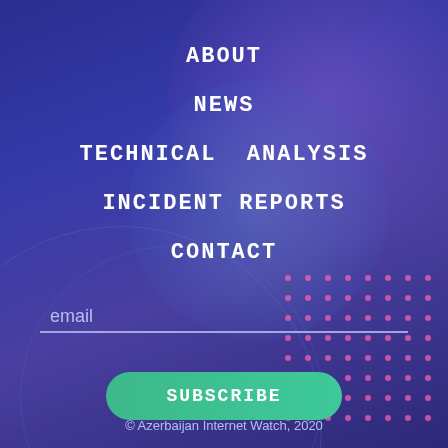ABOUT
NEWS
TECHNICAL ANALYSIS
INCIDENT REPORTS
CONTACT
email
SUBSCRIBE
© Azerbaijan Internet Watch, 2020